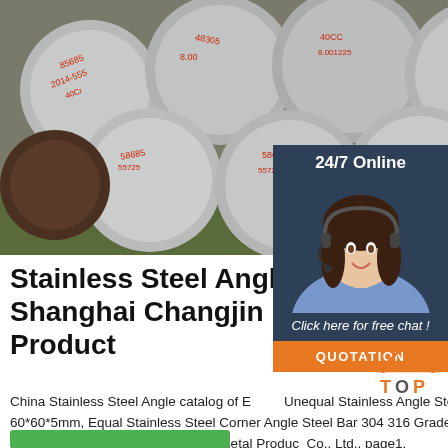[Figure (photo): Stack of round steel bars/rods with red Chinese characters stamped on the ends, viewed from the front]
Stainless Steel Angle - Shanghai Changjin Metal Product
China Stainless Steel Angle catalog of Equal/Unequal Stainless Angle Steel 304 201 316 60*60*5mm, Equal Stainless Steel Corner Angle Steel Bar 304 316 Grade provided by China manufacturer - Shanghai Changjin Metal Product Co., Ltd., page1.
[Figure (photo): Customer service representative woman with headset smiling, with 24/7 Online label and Click here for free chat text and QUOTATION button overlay]